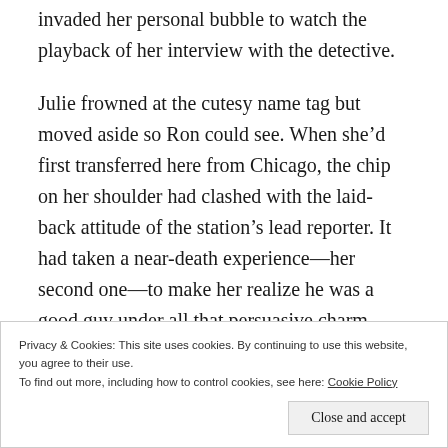invaded her personal bubble to watch the playback of her interview with the detective.
Julie frowned at the cutesy name tag but moved aside so Ron could see. When she'd first transferred here from Chicago, the chip on her shoulder had clashed with the laid-back attitude of the station's lead reporter. It had taken a near-death experience—her second one—to make her realize he was a good guy under all that persuasive charm.
Privacy & Cookies: This site uses cookies. By continuing to use this website, you agree to their use.
To find out more, including how to control cookies, see here: Cookie Policy
Close and accept